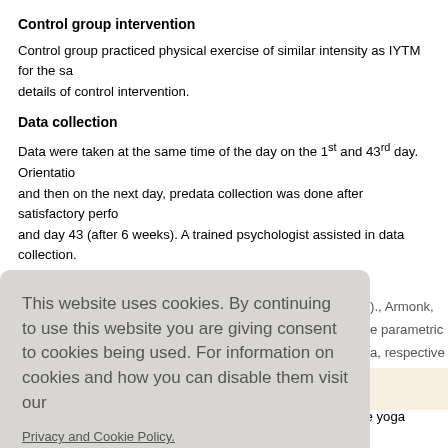Control group intervention
Control group practiced physical exercise of similar intensity as IYTM for the same duration. See supplementary details of control intervention.
Data collection
Data were taken at the same time of the day on the 1st and 43rd day. Orientation was given on the 1st day and then on the next day, predata collection was done after satisfactory performance of the tools on day 1 and day 43 (after 6 weeks). A trained psychologist assisted in data collection.
Data analysis
...o., Armonk, ...e parametric ...a, respectively
This website uses cookies. By continuing to use this website you are giving consent to cookies being used. For information on cookies and how you can disable them visit our Privacy and Cookie Policy. AGREE & PROCEED
Within-group pre- and postcomparison showed that, after the yoga intervention